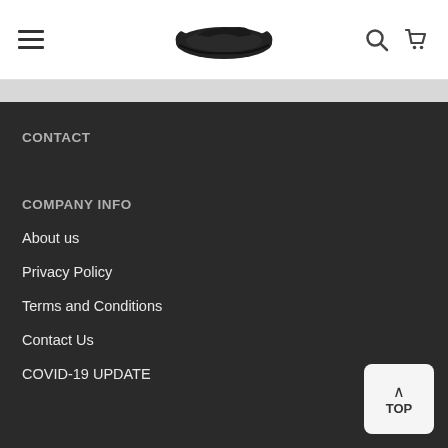Navigation header with hamburger menu, car logo, search and cart icons
CONTACT
COMPANY INFO
About us
Privacy Policy
Terms and Conditions
Contact Us
COVID-19 UPDATE